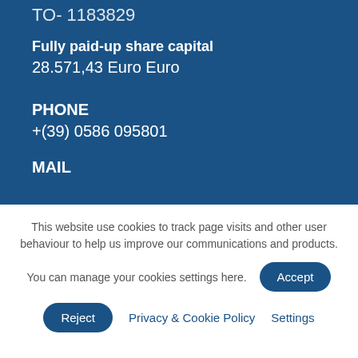TO- 1183829
Fully paid-up share capital
28.571,43 Euro Euro
PHONE
+(39) 0586 095801
MAIL
This website use cookies to track page visits and other user behaviour to help us improve our communications and products. You can manage your cookies settings here.
Accept
Reject
Privacy & Cookie Policy
Settings